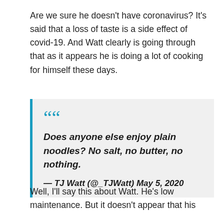Are we sure he doesn't have coronavirus? It's said that a loss of taste is a side effect of covid-19. And Watt clearly is going through that as it appears he is doing a lot of cooking for himself these days.
Does anyone else enjoy plain noodles? No salt, no butter, no nothing.

— TJ Watt (@_TJWatt) May 5, 2020
Well, I'll say this about Watt. He's low maintenance. But it doesn't appear that his